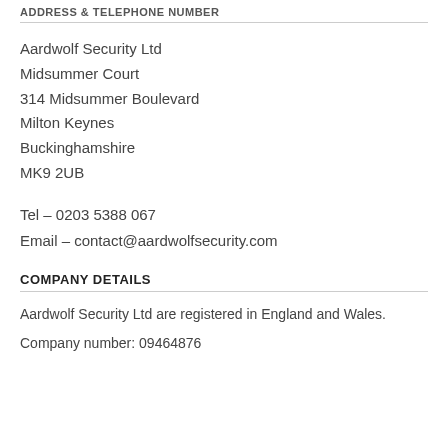ADDRESS & TELEPHONE NUMBER
Aardwolf Security Ltd
Midsummer Court
314 Midsummer Boulevard
Milton Keynes
Buckinghamshire
MK9 2UB
Tel – 0203 5388 067
Email – contact@aardwolfsecurity.com
COMPANY DETAILS
Aardwolf Security Ltd are registered in England and Wales.
Company number: 09464876